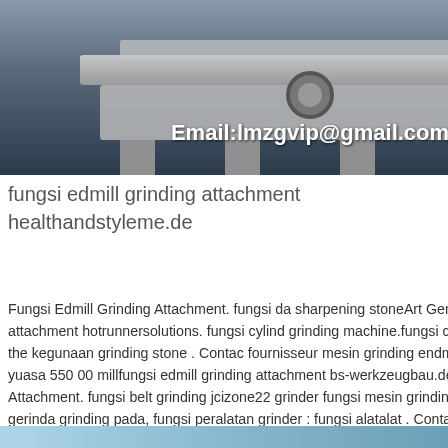[Figure (photo): Industrial grinding machine photograph with Email:lmzgvip@gmail.com overlay text]
fungsi edmill grinding attachment healthandstyleme.de
Fungsi Edmill Grinding Attachment. fungsi da sharpening stoneArt Generation. fungsi edm attachment hotrunnersolutions. fungsi cylind grinding machine.fungsi cylindrical grinding m one of the kegunaan grinding stone . Contac fournisseur mesin grinding endmilldukeprospectivehealth. yuasa 550 00 millfungsi edmill grinding attachment bs-werkzeugbau.de,Fungsi Edmill Grinding Attachment. fungsi belt grinding jcizone22 grinder fungsi mesin grinding datar fungsi dari mesin gerinda grinding pada, fungsi peralatan grinder : fungsi alatalat . Contacter le fournisseur » fungsi end grinder mill machine Grinding Mill China.
[Figure (photo): 24Hrs Online customer service representative with headset]
[Figure (photo): Bottom blue strip image]